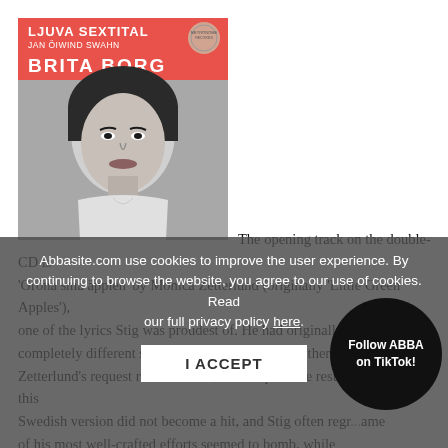[Figure (illustration): Album cover for 'Ljuva Sextital' featuring Jan Öiwind Swahn and Brita Borg. Red/coral top banner with white text, black and white photo of a woman with dark bobbed hair.]
The opening track on the double-CD is 'Gröna små äpplen' by Monica Zetterlund (originally 'Little Green Apples'), one of the lyrics Stig was proudest of. He had originally written a completely different set of lyrics, recorded by another singer, but upon Zetterlund's request rewrote them, with impressive results. However, this Swedish version did not become a hit, and Stig often regreted that some of his most well-crafted efforts seemed to bomb, while inconsequential dashed off in 15 minutes would beco... inconsequential or not, when Stig was at the top of his... developed sense of rhythm a... bined with a... for the value of the words and a finely tuned sense of humour – resulted in
Abbasite.com use cookies to improve the user experience. By continuing to browse the website, you agree to our use of cookies. Read our full privacy policy here.
I ACCEPT
Follow ABBA on TikTok!